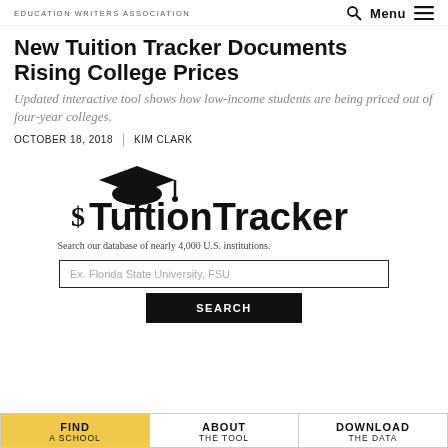EDUCATION WRITERS ASSOCIATION | Menu
New Tuition Tracker Documents Rising College Prices
Updated interactive tool shows how low-income students are being priced out of four-year colleges.
OCTOBER 18, 2018 | KIM CLARK
[Figure (logo): TuitionTracker logo with graduation cap and dollar sign. Text reads: Search our database of nearly 4,000 U.S. institutions.]
Ex. Florida State University, FSU
SEARCH
FIND A SCHOOL
ABOUT THE TOOL
DOWNLOAD THE DATA